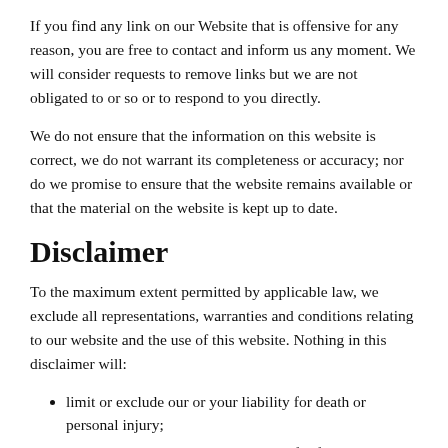If you find any link on our Website that is offensive for any reason, you are free to contact and inform us any moment. We will consider requests to remove links but we are not obligated to or so or to respond to you directly.
We do not ensure that the information on this website is correct, we do not warrant its completeness or accuracy; nor do we promise to ensure that the website remains available or that the material on the website is kept up to date.
Disclaimer
To the maximum extent permitted by applicable law, we exclude all representations, warranties and conditions relating to our website and the use of this website. Nothing in this disclaimer will:
limit or exclude our or your liability for death or personal injury;
limit or exclude our or your liability for fraud or fraudulent misrepresentation;
limit any of our or your liabilities in any way that is not...